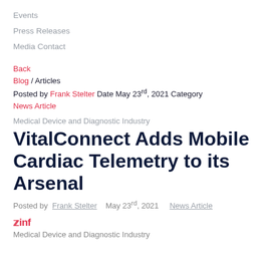Events
Press Releases
Media Contact
Back
Blog / Articles
Posted by Frank Stelter Date May 23rd, 2021 Category News Article
Medical Device and Diagnostic Industry
VitalConnect Adds Mobile Cardiac Telemetry to its Arsenal
Posted by Frank Stelter   May 23rd, 2021   News Article
yinf
Medical Device and Diagnostic Industry